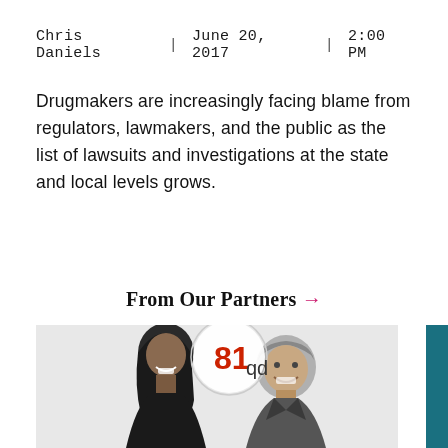Chris Daniels  |  June 20, 2017  |  2:00 PM
Drugmakers are increasingly facing blame from regulators, lawmakers, and the public as the list of lawsuits and investigations at the state and local levels grows.
From Our Partners →
[Figure (photo): Two people (a woman and a man) shown in black and white with a circular logo reading '81 qd' overlaid in the upper center of the image.]